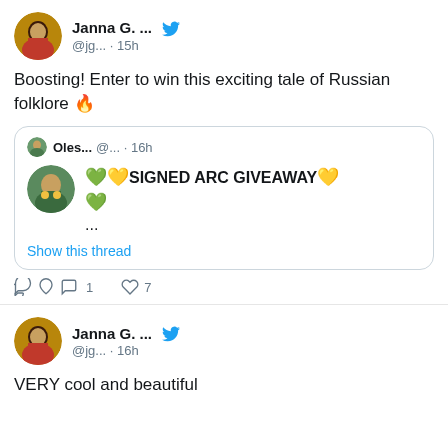[Figure (screenshot): Twitter/social media screenshot showing two tweets by Janna G. with a quoted tweet by Oles... in between]
Janna G. ... @jg... · 15h
Boosting! Enter to win this exciting tale of Russian folklore 🔥
Oles... @... · 16h 💚💛SIGNED ARC GIVEAWAY💛 💚 ... Show this thread
1 reply, 7 likes
Janna G. ... @jg... · 16h
VERY cool and beautiful